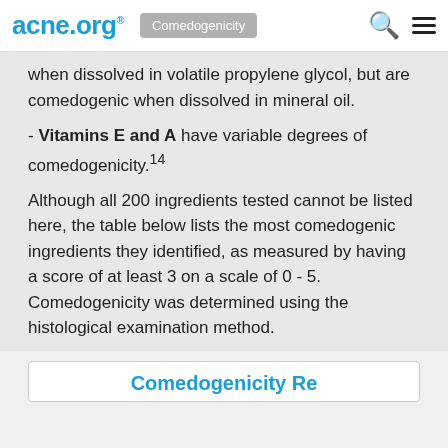acne.org® Comedogenicity
when dissolved in volatile propylene glycol, but are comedogenic when dissolved in mineral oil.
- Vitamins E and A have variable degrees of comedogenicity.14
Although all 200 ingredients tested cannot be listed here, the table below lists the most comedogenic ingredients they identified, as measured by having a score of at least 3 on a scale of 0 - 5. Comedogenicity was determined using the histological examination method.
Comedogenicity Results